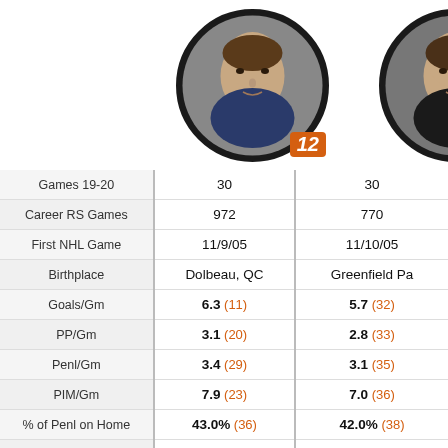[Figure (photo): Player headshot left, circular avatar with jersey number 12 badge, orange border]
[Figure (photo): Player headshot right, circular avatar, orange/black border, partially cropped]
|  | Player 1 (#12) | Player 2 |
| --- | --- | --- |
| Games 19-20 | 30 | 30 |
| Career RS Games | 972 | 770 |
| First NHL Game | 11/9/05 | 11/10/05 |
| Birthplace | Dolbeau, QC | Greenfield Pa... |
| Goals/Gm | 6.3 (11) | 5.7 (32) |
| PP/Gm | 3.1 (20) | 2.8 (33) |
| Penl/Gm | 3.4 (29) | 3.1 (35) |
| PIM/Gm | 7.9 (23) | 7.0 (36) |
| % of Penl on Home | 43.0% (36) | 42.0% (38) |
| More Penl on Rd % | 33.0% (4) | 39.0% (3...) |
| Home Win % | 54.0% (21) | 33.0% (38) |
| Home Rec. | 13-11 | 8-16 |